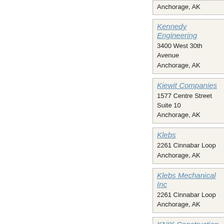Anchorage, AK
Kennedy Engineering
3400 West 30th Avenue
Anchorage, AK
Kiewit Companies
1577 Centre Street Suite 10
Anchorage, AK
Klebs
2261 Cinnabar Loop
Anchorage, AK
Klebs Mechanical Inc
2261 Cinnabar Loop
Anchorage, AK
KNIK Construction Co
6441 South Airpark Place
Anchorage, AK
Koniag Educational Fo
6927 Old Seward Highway
Anchorage, AK
Little Susitna Construction Company
821 N Street Suite 207
Anchorage, AK